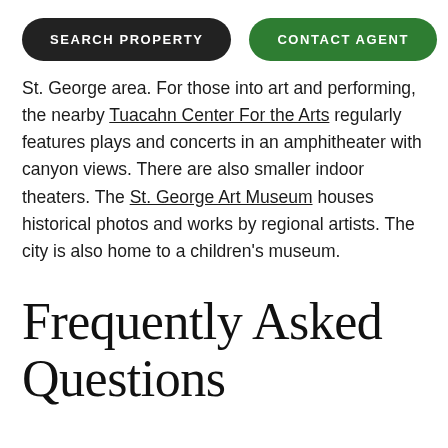SEARCH PROPERTY | CONTACT AGENT
St. George area. For those into art and performing, the nearby Tuacahn Center For the Arts regularly features plays and concerts in an amphitheater with canyon views. There are also smaller indoor theaters. The St. George Art Museum houses historical photos and works by regional artists. The city is also home to a children's museum.
Frequently Asked Questions